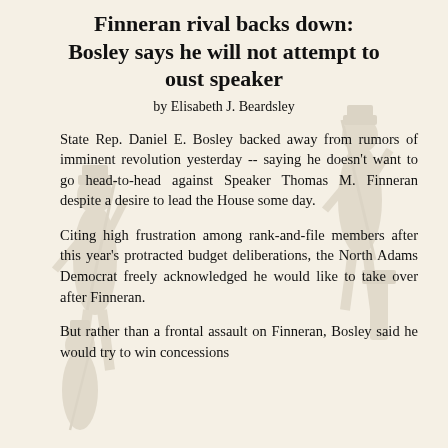Finneran rival backs down: Bosley says he will not attempt to oust speaker
by Elisabeth J. Beardsley
State Rep. Daniel E. Bosley backed away from rumors of imminent revolution yesterday -- saying he doesn't want to go head-to-head against Speaker Thomas M. Finneran despite a desire to lead the House some day.
Citing high frustration among rank-and-file members after this year's protracted budget deliberations, the North Adams Democrat freely acknowledged he would like to take over after Finneran.
But rather than a frontal assault on Finneran, Bosley said he would try to win concessions